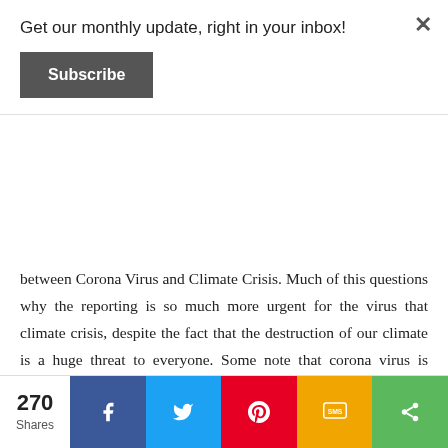Get our monthly update, right in your inbox!
Subscribe
between Corona Virus and Climate Crisis. Much of this questions why the reporting is so much more urgent for the virus that climate crisis, despite the fact that the destruction of our climate is a huge threat to everyone. Some note that corona virus is actually helping the environment, giving it time to heal. And some articles have started to see how the wastefulness in the US, especially in the bathroom, is starting to clog sewers and create environmental problems.
270 Shares